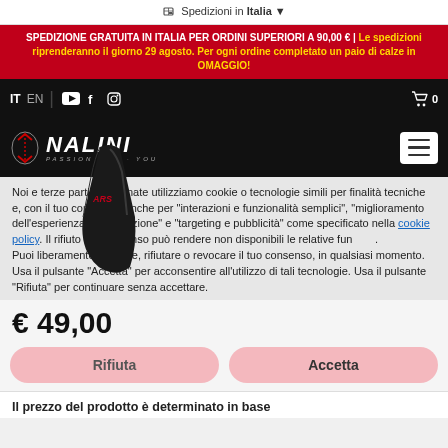Spedizioni in Italia ▼
SPEDIZIONE GRATUITA IN ITALIA PER ORDINI SUPERIORI A 90,00 € | Le spedizioni riprenderanno il giorno 29 agosto. Per ogni ordine completato un paio di calze in OMAGGIO!
[Figure (screenshot): Black navigation bar with IT/EN language switchers, YouTube, Facebook, Instagram icons, and cart icon with 0]
[Figure (logo): Nalini logo — white stylized NALINI text with 'PASSION ON YOU' subtitle on black background, with circular arrow icon on left and hamburger menu button on right]
Noi e terze parti selezionate utilizziamo cookie o tecnologie simili per finalità tecniche e, con il tuo consenso, anche per "interazioni e funzionalità semplici", "miglioramento dell'esperienza", "misurazione" e "targeting e pubblicità" come specificato nella cookie policy. Il rifiuto del consenso può rendere non disponibili le relative funzioni. Puoi liberamente prestare, rifiutare o revocare il tuo consenso, in qualsiasi momento. Usa il pulsante "Accetta" per acconsentire all'utilizzo di tali tecnologie. Usa il pulsante "Rifiuta" per continuare senza accettare.
€ 49,00
Rifiuta
Accetta
Il prezzo del prodotto è determinato in base